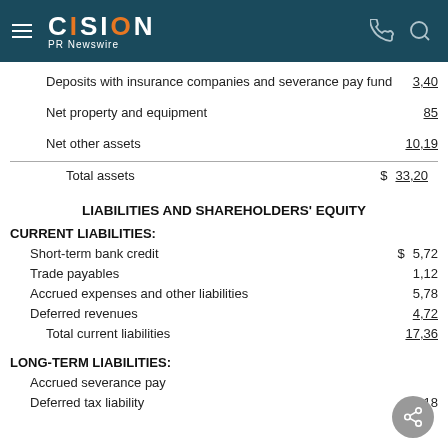CISION PR Newswire
Deposits with insurance companies and severance pay fund   3,40
Net property and equipment   85
Net other assets   10,19
Total assets   $ 33,20
LIABILITIES AND SHAREHOLDERS' EQUITY
CURRENT LIABILITIES:
Short-term bank credit   $ 5,72
Trade payables   1,12
Accrued expenses and other liabilities   5,78
Deferred revenues   4,72
Total current liabilities   17,36
LONG-TERM LIABILITIES:
Accrued severance pay
Deferred tax liability   18